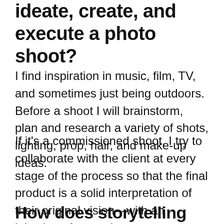ideate, create, and execute a photo shoot?
I find inspiration in music, film, TV, and sometimes just being outdoors. Before a shoot I will brainstorm, plan and research a variety of shots, lighting, prop, hair, and make-up ideas.
If it’s a commissioned shoot, I try to collaborate with the client at every stage of the process so that the final product is a solid interpretation of their original vision—with an injection of my style.
How does storytelling play into